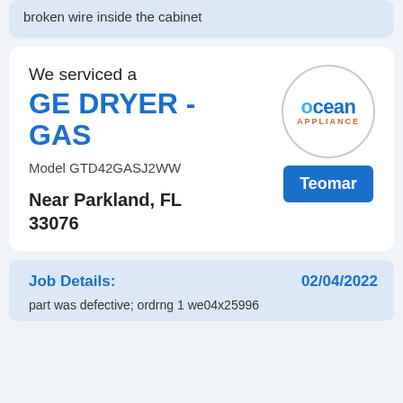broken wire inside the cabinet
We serviced a
GE DRYER - GAS
[Figure (logo): Ocean Appliance circular logo with blue text]
Model GTD42GASJ2WW
Teomar
Near Parkland, FL 33076
Job Details:
02/04/2022
part was defective; ordrng 1 we04x25996